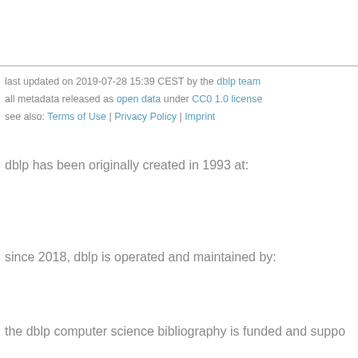last updated on 2019-07-28 15:39 CEST by the dblp team
all metadata released as open data under CC0 1.0 license
see also: Terms of Use | Privacy Policy | Imprint
dblp has been originally created in 1993 at:
since 2018, dblp is operated and maintained by:
the dblp computer science bibliography is funded and suppo